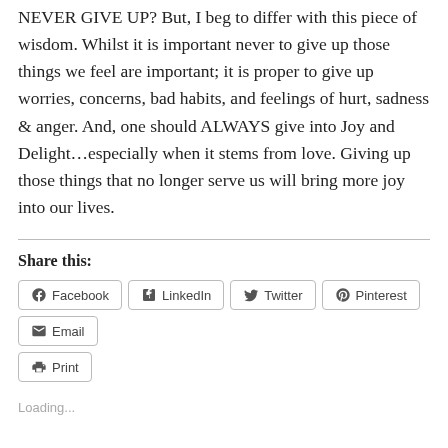NEVER GIVE UP? But, I beg to differ with this piece of wisdom. Whilst it is important never to give up those things we feel are important; it is proper to give up worries, concerns, bad habits, and feelings of hurt, sadness & anger. And, one should ALWAYS give into Joy and Delight…especially when it stems from love. Giving up those things that no longer serve us will bring more joy into our lives.
Share this:
Facebook LinkedIn Twitter Pinterest Email Print
Loading...